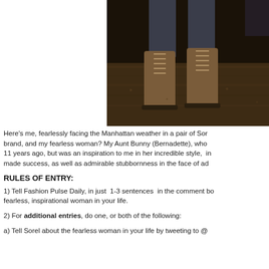[Figure (photo): Photo of a person's legs wearing tall lace-up Sorel boots standing on wet ground at night]
Here's me, fearlessly facing the Manhattan weather in a pair of Sorel brand, and my fearless woman? My Aunt Bunny (Bernadette), who 11 years ago, but was an inspiration to me in her incredible style, in made success, as well as admirable stubbornness in the face of ad
RULES OF ENTRY:
1) Tell Fashion Pulse Daily, in just 1-3 sentences in the comment bo fearless, inspirational woman in your life.
2) For additional entries, do one, or both of the following:
a) Tell Sorel about the fearless woman in your life by tweeting to @